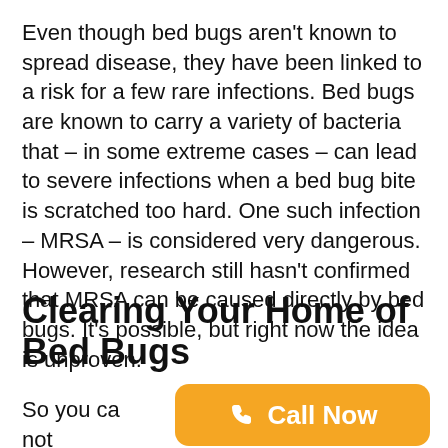Even though bed bugs aren't known to spread disease, they have been linked to a risk for a few rare infections. Bed bugs are known to carry a variety of bacteria that – in some extreme cases – can lead to severe infections when a bed bug bite is scratched too hard. One such infection – MRSA – is considered very dangerous. However, research still hasn't confirmed that MRSA can be caused directly by bed bugs. It's possible, but right now the idea is unproven.
Clearing Your Home of Bed Bugs
So you can... d not cause any known diseases, with the possible exception